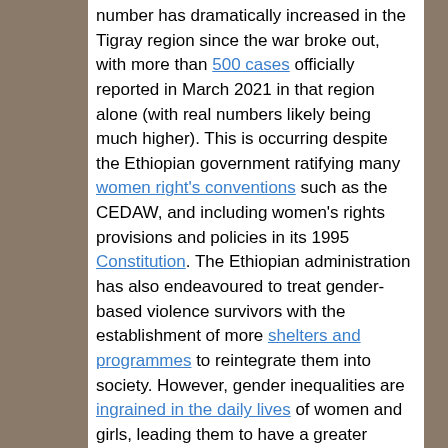number has dramatically increased in the Tigray region since the war broke out, with more than 500 cases officially reported in March 2021 in that region alone (with real numbers likely being much higher). This is occurring despite the Ethiopian government ratifying many women right's conventions such as the CEDAW, and including women's rights provisions and policies in its 1995 Constitution. The Ethiopian administration has also endeavoured to treat gender-based violence survivors with the establishment of more shelters and programmes to reintegrate them into society. However, gender inequalities are ingrained in the daily lives of women and girls, leading them to have a greater likelihood of living with violence in their homes compared with men. Combined with a lack of control over their bodies, this ensures they are more prone to violations of their reproductive and nutrition rights, beyond...